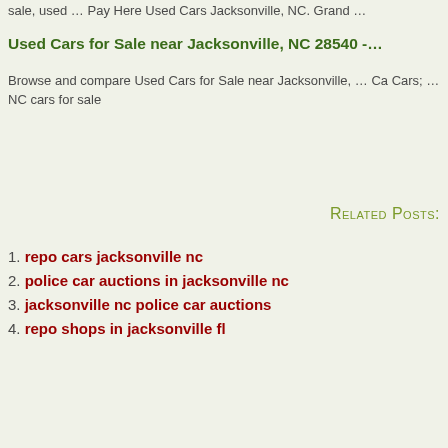sale, used … Pay Here Used Cars Jacksonville, NC. Grand …
Used Cars for Sale near Jacksonville, NC 28540 -…
Browse and compare Used Cars for Sale near Jacksonville, … Cars; … NC cars for sale
Related Posts:
repo cars jacksonville nc
police car auctions in jacksonville nc
jacksonville nc police car auctions
repo shops in jacksonville fl
Posted in Uncategorized